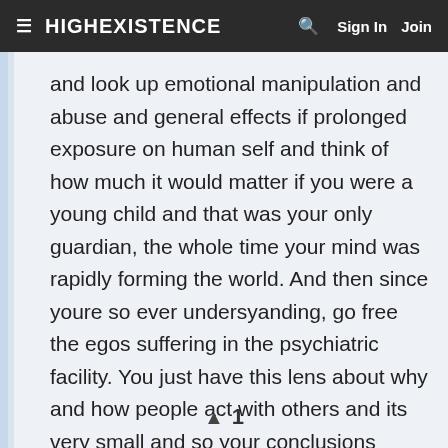≡ HIGHEXISTENCE  🔍  Sign In  Join
and look up emotional manipulation and abuse and general effects if prolonged exposure on human self and think of how much it would matter if you were a young child and that was your only guardian, the whole time your mind was rapidly forming the world. And then since youre so ever undersyanding, go free the egos suffering in the psychiatric facility. You just have this lens about why and how people act with others and its very small and so your conclusions seem a bit fucked up because it doesnt fit all sitations, you shouldnt stretch it across everything and base it on your ego.
▲ 1